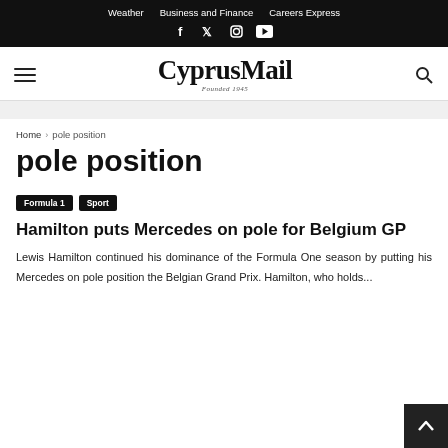Weather  Business and Finance  Careers Express
CyprusMail — Founded 1945
Home › pole position
pole position
Formula 1  Sport
Hamilton puts Mercedes on pole for Belgium GP
Lewis Hamilton continued his dominance of the Formula One season by putting his Mercedes on pole position the Belgian Grand Prix. Hamilton, who holds...